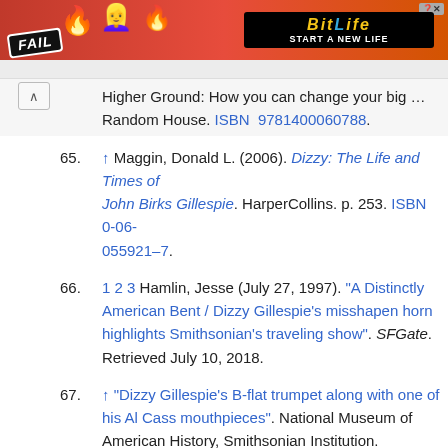[Figure (other): Advertisement banner for BitLife game: 'FAIL - START A NEW LIFE' with animated character and fire graphics on red background]
Higher Ground: How You Can Change Your Big … New York: Random House. ISBN 9781400060788.
65. ↑ Maggin, Donald L. (2006). Dizzy: The Life and Times of John Birks Gillespie. HarperCollins. p. 253. ISBN 0-06-055921-7.
66. 1 2 3 Hamlin, Jesse (July 27, 1997). "A Distinctly American Bent / Dizzy Gillespie's misshapen horn highlights Smithsonian's traveling show". SFGate. Retrieved July 10, 2018.
67. ↑ "Dizzy Gillespie's B-flat trumpet along with one of his Al Cass mouthpieces". National Museum of American History, Smithsonian Institution. Retrieved